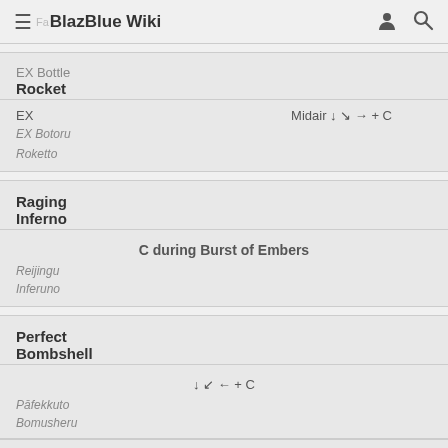BlazBlue Wiki
EX Bottle Rocket
EX   Midair ↓ ↘ → + C
EX Botoru
Roketto
Raging Inferno
C during Burst of Embers
Reijingu
Inferuno
Perfect Bombshell
↓ ↙ ← + C
Pāfekkuto
Bomusheru
A command grab that provides partial